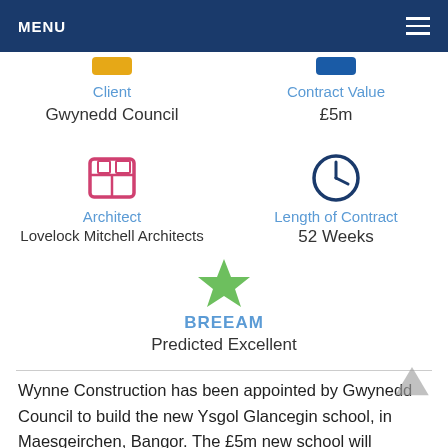MENU
Client
Gwynedd Council
Contract Value
£5m
Architect
Lovelock Mitchell Architects
Length of Contract
52 Weeks
BREEAM
Predicted Excellent
Wynne Construction has been appointed by Gwynedd Council to build the new Ysgol Glancegin school, in Maesgeirchen, Bangor. The £5m new school will replace the existing Ysgol Glancegin, which has 230 pupils and the project includes extensive landscaping of the school